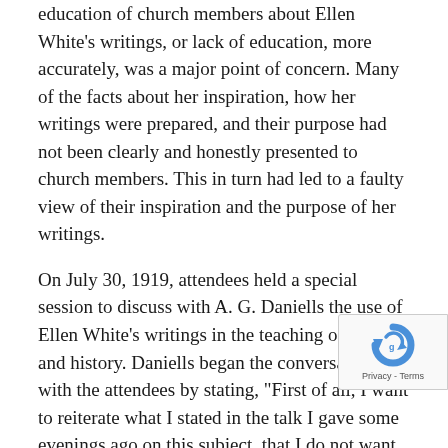education of church members about Ellen White's writings, or lack of education, more accurately, was a major point of concern. Many of the facts about her inspiration, how her writings were prepared, and their purpose had not been clearly and honestly presented to church members. This in turn had led to a faulty view of their inspiration and the purpose of her writings.
On July 30, 1919, attendees held a special session to discuss with A. G. Daniells the use of Ellen White's writings in the teaching of Bible and history. Daniells began the conversation with the attendees by stating, "First of all, I want to reiterate what I stated in the talk I gave some evenings ago on this subject, that I do not want to say one word that will destroy confidence in this gift [of prophecy; i.e., Ellen White's writings] to the people. I do not want to create doubts. I do not want to in any way depreciate the value of the
[Figure (other): reCAPTCHA badge with circular arrow logo and Privacy - Terms text]